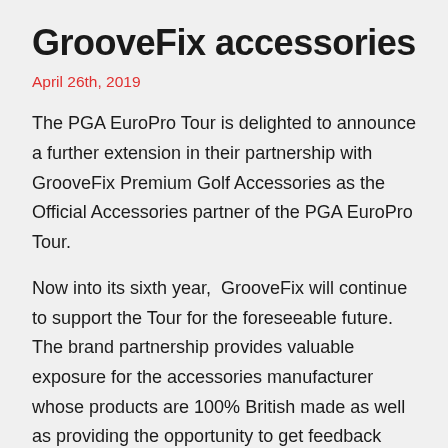GrooveFix accessories
April 26th, 2019
The PGA EuroPro Tour is delighted to announce a further extension in their partnership with GrooveFix Premium Golf Accessories as the Official Accessories partner of the PGA EuroPro Tour.
Now into its sixth year,  GrooveFix will continue to support the Tour for the foreseeable future. The brand partnership provides valuable exposure for the accessories manufacturer whose products are 100% British made as well as providing the opportunity to get feedback from the players